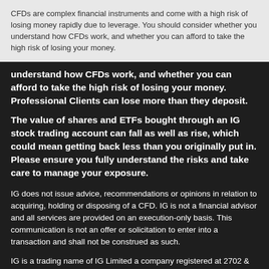CFDs are complex financial instruments and come with a high risk of losing money rapidly due to leverage. You should consider whether you understand how CFDs work, and whether you can afford to take the high risk of losing your money.
understand how CFDs work, and whether you can afford to take the high risk of losing your money. Professional Clients can lose more than they deposit.
The value of shares and ETFs bought through an IG stock trading account can fall as well as rise, which could mean getting back less than you originally put in. Please ensure you fully understand the risks and take care to manage your exposure.
IG does not issue advice, recommendations or opinions in relation to acquiring, holding or disposing of a CFD. IG is not a financial advisor and all services are provided on an execution-only basis. This communication is not an offer or solicitation to enter into a transaction and shall not be construed as such.
IG is a trading name of IG Limited a company registered at 2702 & 2703 Level 27, Tower 2, Al Fattan Currency House, DIFC, Dubai, United Arab Emirates. IG is authorised and regulated by the Dubai Financial Services Authority (DFSA) under reference No. F001780.